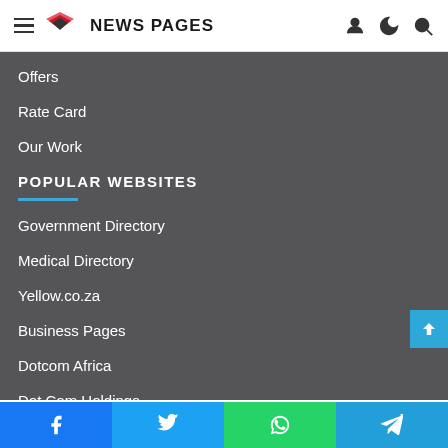NEWS PAGES
Offers
Rate Card
Our Work
POPULAR WEBSITES
Government Directory
Medical Directory
Yellow.co.za
Business Pages
Dotcom Africa
Dot Com Holdings